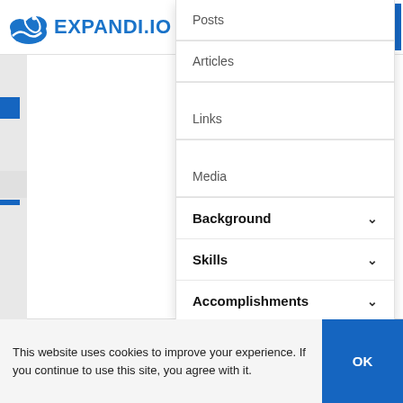[Figure (screenshot): Expandi.io website navigation header with logo, hamburger menu, Log in text, and blue Sign up button]
Posts
Articles
Links
Media
Background
Skills
Accomplishments
Additional information
Supported languages
This website uses cookies to improve your experience. If you continue to use this site, you agree with it.